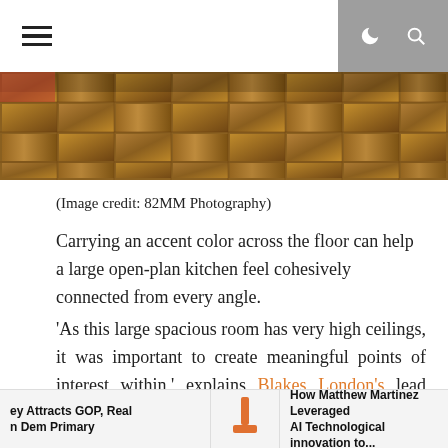≡  🌙 🔍
[Figure (photo): Wooden parquet floor tiles photograph, cropped to show texture and pattern]
(Image credit: 82MM Photography)
Carrying an accent color across the floor can help a large open-plan kitchen feel cohesively connected from every angle.
'As this large spacious room has very high ceilings, it was important to create meaningful points of interest within,' explains Blakes London's lead designer Annie Ebenston. 'Using warm red on the pantries that frame the fireplace lifts the whole elevation to be more than just a period fireplace.'
In isolation, the pantries could have overpowered but the custom-colored floor tiles play an anchoring role that
ey Attracts GOP, Real n Dem Primary   How Matthew Martinez Leveraged AI Technological innovation to...